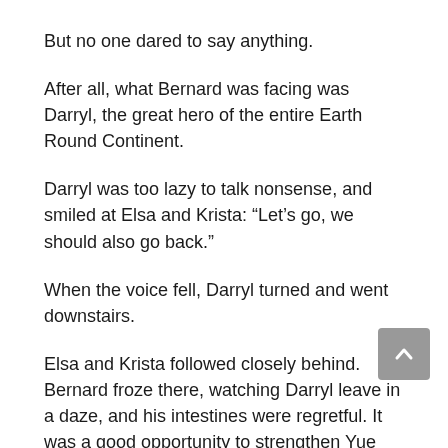But no one dared to say anything.
After all, what Bernard was facing was Darryl, the great hero of the entire Earth Round Continent.
Darryl was too lazy to talk nonsense, and smiled at Elsa and Krista: “Let’s go, we should also go back.”
When the voice fell, Darryl turned and went downstairs.
Elsa and Krista followed closely behind. Bernard froze there, watching Darryl leave in a daze, and his intestines were regretful. It was a good opportunity to strengthen Yue Daxia, so he was messed up by himself.